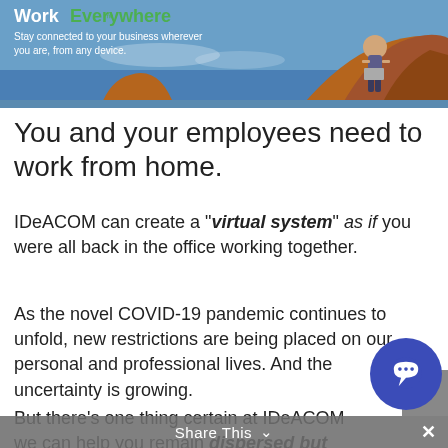[Figure (photo): Banner advertisement showing a person sitting on a rock formation outdoors with text 'Work Everywhere' in white and green, and subtext 'Stay connected to your business wherever you are, from any device.']
You and your employees need to work from home.
IDeACOM can create a "virtual system" as if you were all back in the office working together.
As the novel COVID-19 pandemic continues to unfold, new restrictions are being placed on our personal and professional lives. And the uncertainty is growing.
But there's one thing certain at IDeACOM we can help you remain dispersed but connected with your staff and your clients.